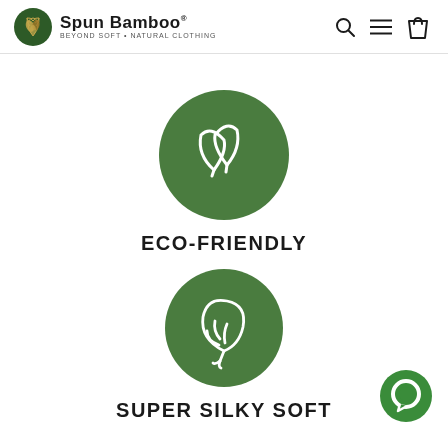Spun Bamboo — BEYOND SOFT • NATURAL CLOTHING
[Figure (logo): Spun Bamboo logo: dark green circle with bamboo leaf icon, brand name 'Spun Bamboo' and tagline 'BEYOND SOFT • NATURAL CLOTHING']
[Figure (illustration): Dark green circle icon with white outline of two overlapping leaves]
ECO-FRIENDLY
[Figure (illustration): Dark green circle icon with white outline of a single leaf with stem]
SUPER SILKY SOFT
[Figure (illustration): Green circle chat bubble icon in bottom right corner]